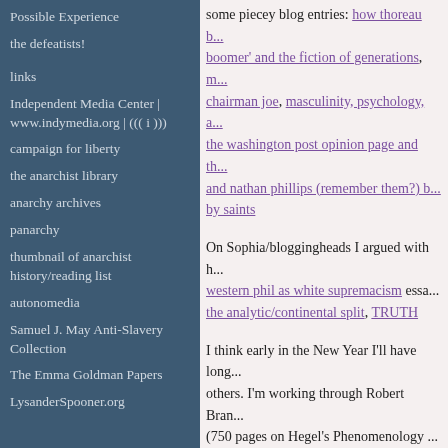Possible Experience
the defeatists!
links
Independent Media Center | www.indymedia.org | ((( i )))
campaign for liberty
the anarchist library
anarchy archives
panarchy
thumbnail of anarchist history/reading list
autonomedia
Samuel J. May Anti-Slavery Collection
The Emma Goldman Papers
LysanderSpooner.org
some piecey blog entries: how thoreau b... boomer' and the fiction of generations, m... chairman joe, masculinity, psychology, a... the washington post opinion page and th... and nathan phillips (remember them?) b... by saints
On Sophia/bloggingheads I argued with h... western phil as white supremacism essa... the analytic/continental split, TRUTH
I think early in the New Year I'll have long... others. I'm working through Robert Bran... (750 pages on Hegel's Phenomenology ... is itself a philosophical system) for the Th...
2018 sartwelliana
crispy on December 27, 2019 at 07:53 AM in acade...